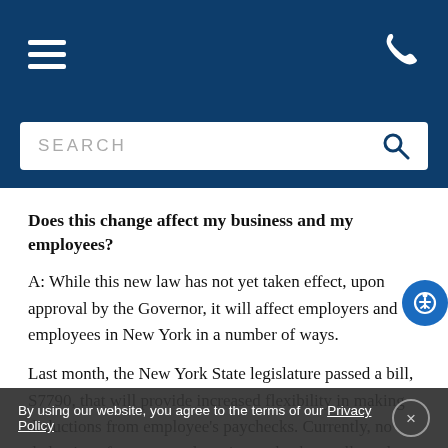[Navigation bar with hamburger menu and phone icon]
Does this change affect my business and my employees?
A: While this new law has not yet taken effect, upon approval by the Governor, it will affect employers and employees in New York in a number of ways.
Last month, the New York State legislature passed a bill, S7790, that will provide increased flexibility in making deductions from employee’s paychecks. Currently, no deductions from an employee’s paycheck are allowed except for insurance premiums, health benefits and union dues. Upon the Governor’s approval (followed by a 60-day
By using our website, you agree to the terms of our Privacy Policy